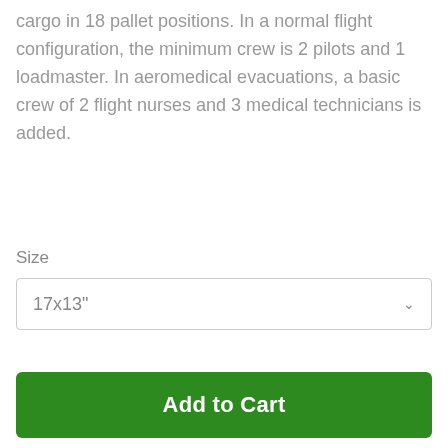cargo in 18 pallet positions. In a normal flight configuration, the minimum crew is 2 pilots and 1 loadmaster. In aeromedical evacuations, a basic crew of 2 flight nurses and 3 medical technicians is added.
Size
17x13"
Add to Cart